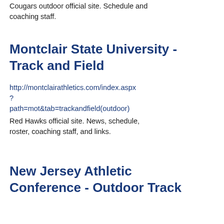Cougars outdoor official site. Schedule and coaching staff.
Montclair State University - Track and Field
http://montclairathletics.com/index.aspx?path=mot&amp;tab=trackandfield(outdoor)
Red Hawks official site. News, schedule, roster, coaching staff, and links.
New Jersey Athletic Conference - Outdoor Track